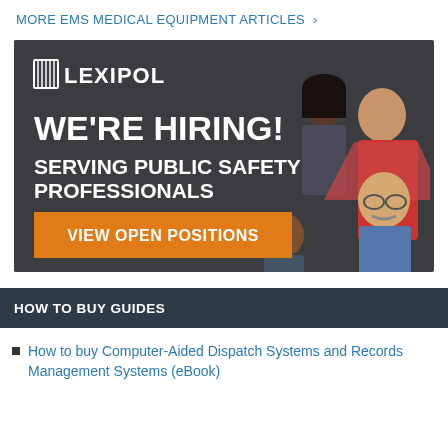MORE EMS MEDICAL EQUIPMENT ARTICLES >
[Figure (illustration): Lexipol advertisement banner with dark background showing illustrated diverse group of professionals. Text reads: LEXIPOL - WE'RE HIRING! SERVING PUBLIC SAFETY PROFESSIONALS. Orange button: VIEW OPEN POSITIONS]
HOW TO BUY GUIDES
How to buy Computer-Aided Dispatch Systems and Records Management Systems (eBook)